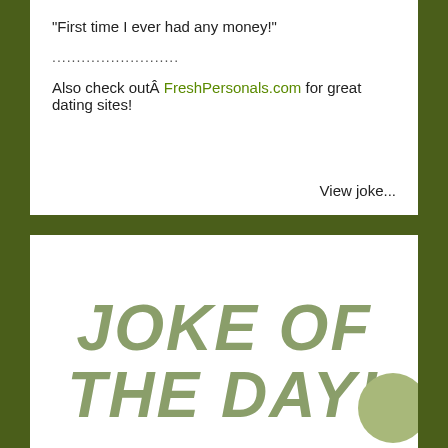"First time I ever had any money!"
..........................
Also check outÂ FreshPersonals.com for great dating sites!
View joke...
[Figure (illustration): Joke of the Day logo — large bold italic text reading 'JOKE OF THE DAY!' in muted olive/grey-green color on white background, with a circular green decoration in the lower right.]